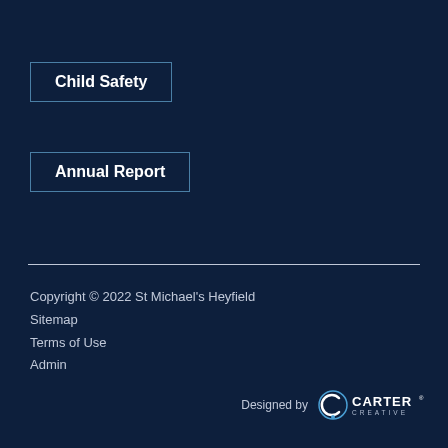Child Safety
Annual Report
Copyright © 2022 St Michael's Heyfield
Sitemap
Terms of Use
Admin
[Figure (logo): Designed by Carter Creative logo]
Designed by CARTER CREATIVE